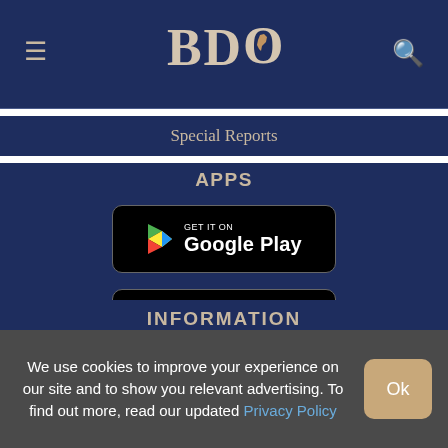BDO
Special Reports
APPS
[Figure (logo): Google Play store badge — black rounded rectangle with Google Play triangle logo and text 'GET IT ON Google Play']
[Figure (logo): Apple App Store badge — black rounded rectangle with Apple logo and text 'Download on the App Store']
INFORMATION
We use cookies to improve your experience on our site and to show you relevant advertising. To find out more, read our updated Privacy Policy